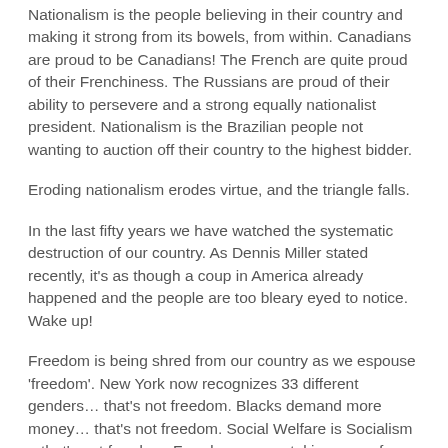Nationalism is the people believing in their country and making it strong from its bowels, from within. Canadians are proud to be Canadians! The French are quite proud of their Frenchiness. The Russians are proud of their ability to persevere and a strong equally nationalist president. Nationalism is the Brazilian people not wanting to auction off their country to the highest bidder.
Eroding nationalism erodes virtue, and the triangle falls.
In the last fifty years we have watched the systematic destruction of our country. As Dennis Miller stated recently, it's as though a coup in America already happened and the people are too bleary eyed to notice. Wake up!
Freedom is being shred from our country as we espouse 'freedom'. New York now recognizes 33 different genders… that's not freedom. Blacks demand more money… that's not freedom. Social Welfare is Socialism – that's not freedom. Freedom means taking care of